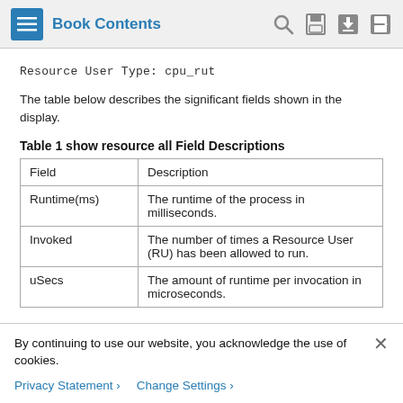Book Contents
Resource User Type: cpu_rut
The table below describes the significant fields shown in the display.
Table 1 show resource all Field Descriptions
| Field | Description |
| --- | --- |
| Runtime(ms) | The runtime of the process in milliseconds. |
| Invoked | The number of times a Resource User (RU) has been allowed to run. |
| uSecs | The amount of runtime per invocation in microseconds. |
By continuing to use our website, you acknowledge the use of cookies.
Privacy Statement >   Change Settings >